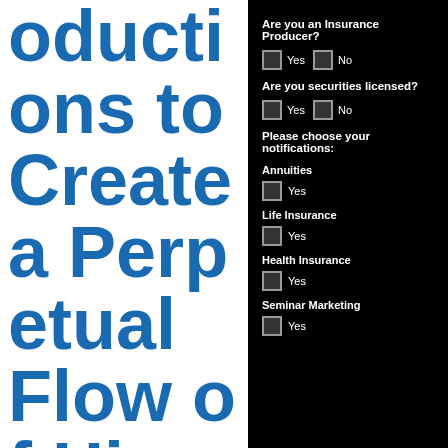oductions to Create a Perpetual Flow of Hi
Are you an Insurance Producer?
Yes  No
Are you securities licensed?
Yes  No
Please choose your notifications:
Annuities
Yes
Life Insurance
Yes
Health Insurance
Yes
Seminar Marketing
Yes